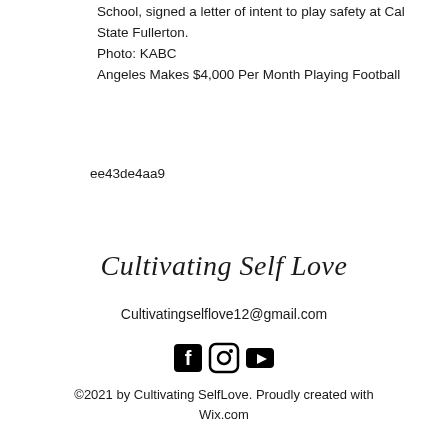School, signed a letter of intent to play safety at Cal State Fullerton.
Photo: KABC
Angeles Makes $4,000 Per Month Playing Football
ee43de4aa9
Cultivating Self Love
Cultivatingselflove12@gmail.com
[Figure (infographic): Social media icons: Facebook, Instagram, YouTube]
©2021 by Cultivating SelfLove. Proudly created with Wix.com